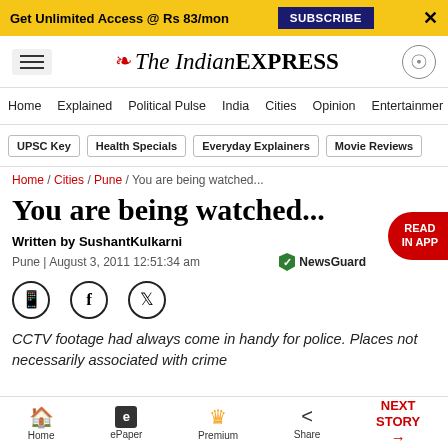Get Unlimited Access @ Rs 83/mon  SUBSCRIBE  X
The Indian EXPRESS
Home / Explained / Political Pulse / India / Cities / Opinion / Entertainment
UPSC Key | Health Specials | Everyday Explainers | Movie Reviews
Home / Cities / Pune / You are being watched...
You are being watched...
Written by SushantKulkarni
Pune | August 3, 2011 12:51:34 am
CCTV footage had always come in handy for police. Places not necessarily associated with crime